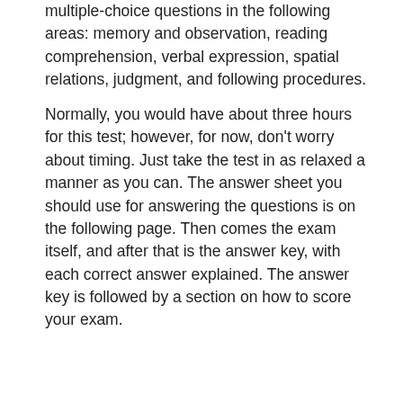multiple-choice questions in the following areas: memory and observation, reading comprehension, verbal expression, spatial relations, judgment, and following procedures.
Normally, you would have about three hours for this test; however, for now, don't worry about timing. Just take the test in as relaxed a manner as you can. The answer sheet you should use for answering the questions is on the following page. Then comes the exam itself, and after that is the answer key, with each correct answer explained. The answer key is followed by a section on how to score your exam.